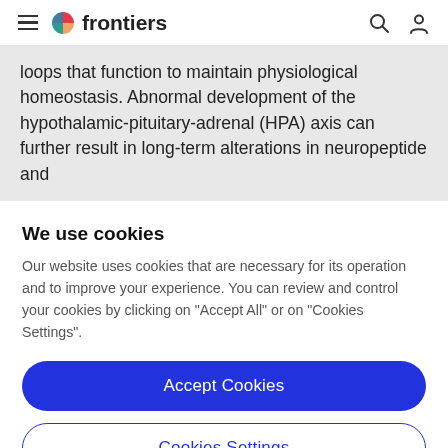frontiers
loops that function to maintain physiological homeostasis. Abnormal development of the hypothalamic-pituitary-adrenal (HPA) axis can further result in long-term alterations in neuropeptide and
We use cookies
Our website uses cookies that are necessary for its operation and to improve your experience. You can review and control your cookies by clicking on "Accept All" or on "Cookies Settings".
Accept Cookies
Cookies Settings